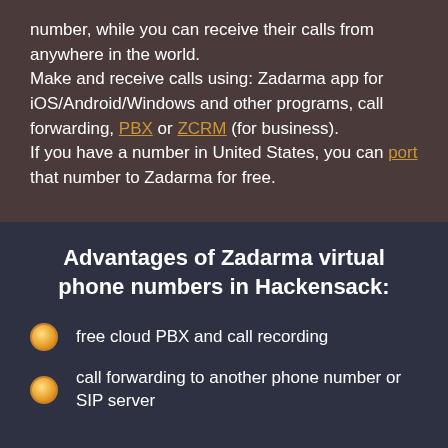number, while you can receive their calls from anywhere in the world.
Make and receive calls using: Zadarma app for iOS/Android/Windows and other programs, call forwarding, PBX or ZCRM (for business).
If you have a number in United States, you can port that number to Zadarma for free.
Advantages of Zadarma virtual phone numbers in Hackensack:
free cloud PBX and call recording
call forwarding to another phone number or SIP server